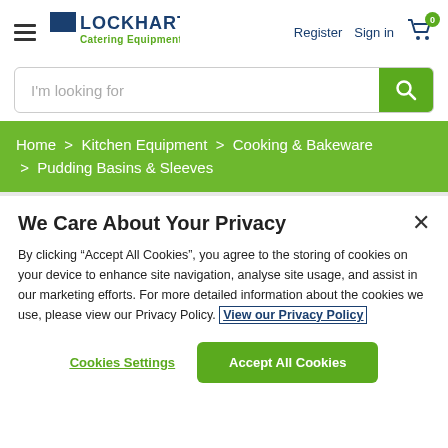[Figure (logo): Lockhart Catering Equipment logo with hamburger menu icon]
Register   Sign in   Cart (0)
I'm looking for
Home > Kitchen Equipment > Cooking & Bakeware > Pudding Basins & Sleeves
We Care About Your Privacy
By clicking “Accept All Cookies”, you agree to the storing of cookies on your device to enhance site navigation, analyse site usage, and assist in our marketing efforts. For more detailed information about the cookies we use, please view our Privacy Policy. View our Privacy Policy
Cookies Settings
Accept All Cookies